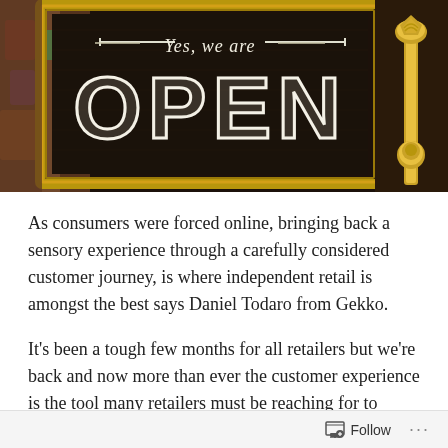[Figure (photo): A storefront window with a decorative sign reading 'Yes, we are OPEN' in white lettering on a dark background, framed in gold. A gold ornate door handle/knob is visible on the right side.]
As consumers were forced online, bringing back a sensory experience through a carefully considered customer journey, is where independent retail is amongst the best says Daniel Todaro from Gekko.
It's been a tough few months for all retailers but we're back and now more than ever the customer experience is the tool many retailers must be reaching for to recapture shoppers and remind them what they have missed.
Follow ···